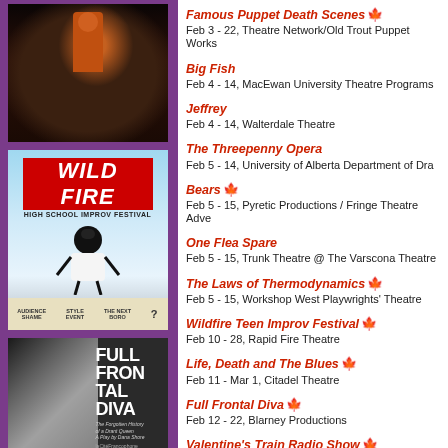[Figure (photo): Photo for Famous Puppet Death Scenes - dark theatrical scene with figure]
Famous Puppet Death Scenes [blue leaf] - Feb 3 - 22, Theatre Network/Old Trout Puppet Workshop
Big Fish - Feb 4 - 14, MacEwan University Theatre Programs
Jeffrey - Feb 4 - 14, Walterdale Theatre
The Threepenny Opera - Feb 5 - 14, University of Alberta Department of Drama
Bears [maple leaf] - Feb 5 - 15, Pyretic Productions / Fringe Theatre Adventures
One Flea Spare - Feb 5 - 15, Trunk Theatre @ The Varscona Theatre
The Laws of Thermodynamics [blue leaf] - Feb 5 - 15, Workshop West Playwrights' Theatre
[Figure (photo): Wildfire High School Improv Festival poster with red banner and cartoon figure]
Wildfire Teen Improv Festival [blue leaf] - Feb 10 - 28, Rapid Fire Theatre
Life, Death and The Blues [maple leaf] - Feb 11 - Mar 1, Citadel Theatre
Full Frontal Diva [maple leaf] - Feb 12 - 22, Blarney Productions
[Figure (photo): Full Frontal Diva show poster - black and white photo of woman with red text]
Valentine's Train Radio Show [blue leaf] - Feb 13 - 15, The Capitol Theatre